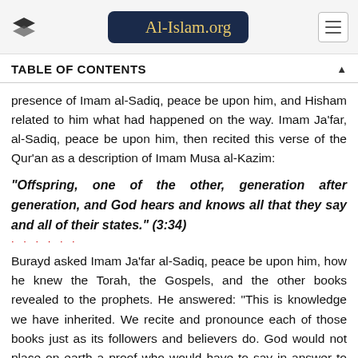Al-Islam.org
TABLE OF CONTENTS
presence of Imam al-Sadiq, peace be upon him, and Hisham related to him what had happened on the way. Imam Ja'far, al-Sadiq, peace be upon him, then recited this verse of the Qur'an as a description of Imam Musa al-Kazim:
"Offspring, one of the other, generation after generation, and God hears and knows all that they say and all of their states." (3:34)
Burayd asked Imam Ja'far al-Sadiq, peace be upon him, how he knew the Torah, the Gospels, and the other books revealed to the prophets. He answered: "This is knowledge we have inherited. We recite and pronounce each of those books just as its followers and believers do. God would not place on earth a proof who would have to say in answer to any question, 'I do not